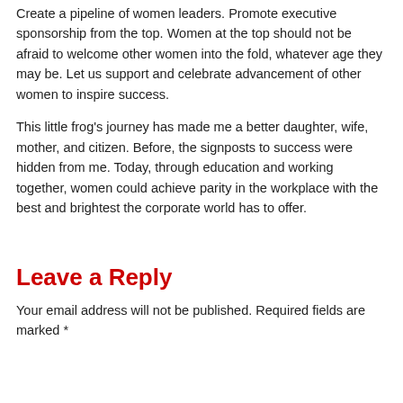Create a pipeline of women leaders. Promote executive sponsorship from the top. Women at the top should not be afraid to welcome other women into the fold, whatever age they may be. Let us support and celebrate advancement of other women to inspire success.
This little frog's journey has made me a better daughter, wife, mother, and citizen. Before, the signposts to success were hidden from me. Today, through education and working together, women could achieve parity in the workplace with the best and brightest the corporate world has to offer.
Leave a Reply
Your email address will not be published. Required fields are marked *